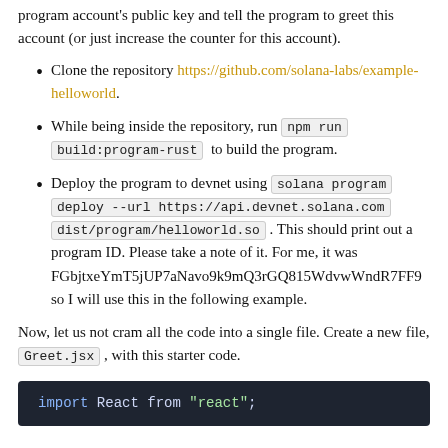...Now, anyone with your public key can generate your program account's public key and tell the program to greet this account (or just increase the counter for this account).
Clone the repository https://github.com/solana-labs/example-helloworld.
While being inside the repository, run `npm run build:program-rust` to build the program.
Deploy the program to devnet using `solana program deploy --url https://api.devnet.solana.com dist/program/helloworld.so`. This should print out a program ID. Please take a note of it. For me, it was FGbjtxeYmT5jUP7aNavo9k9mQ3rGQ815WdvwWndR7FF9 so I will use this in the following example.
Now, let us not cram all the code into a single file. Create a new file, `Greet.jsx`, with this starter code.
[Figure (screenshot): Dark code block showing: import React from "react";]